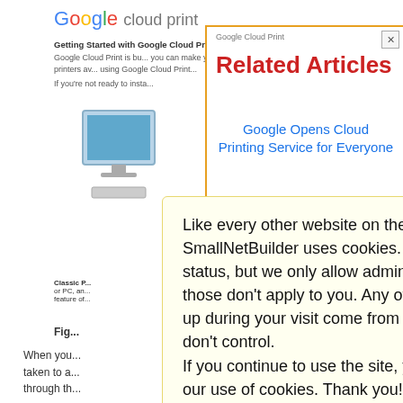[Figure (screenshot): Background: Google Cloud Print webpage showing 'Getting Started with Google Cloud Print' article with a computer image and text content]
[Figure (screenshot): Popup overlay box with orange border titled 'Related Articles' showing links: 'Google Opens Cloud Printing Service for Everyone' and other related article links in blue text on white background]
Like every other website on the planet, SmallNetBuilder uses cookies. Our cookies track login status, but we only allow admins to log in anyway, so those don't apply to you. Any other cookies you pick up during your visit come from advertisers, which we don't control.
If you continue to use the site, you agree to tolerate our use of cookies. Thank you!